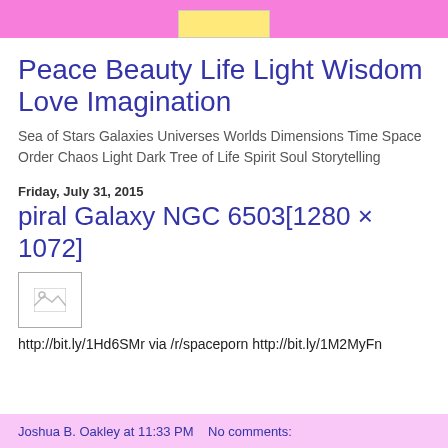Peace Beauty Life Light Wisdom Love Imagination
Sea of Stars Galaxies Universes Worlds Dimensions Time Space Order Chaos Light Dark Tree of Life Spirit Soul Storytelling
Friday, July 31, 2015
piral Galaxy NGC 6503[1280 × 1072]
[Figure (photo): Broken image placeholder icon]
http://bit.ly/1Hd6SMr via /r/spaceporn http://bit.ly/1M2MyFn
Joshua B. Oakley at 11:33 PM   No comments: